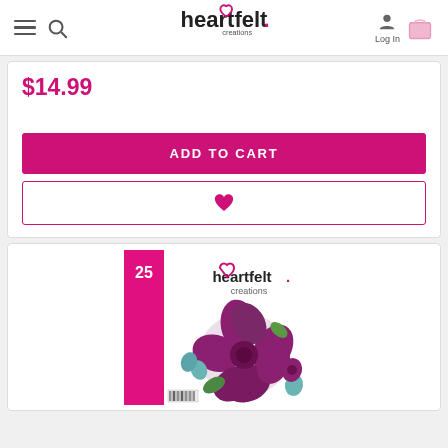heartfelt creations — Log In
$14.99
ADD TO CART
[Figure (screenshot): Heartfelt Creations product catalog book cover showing flowers and the number 25]